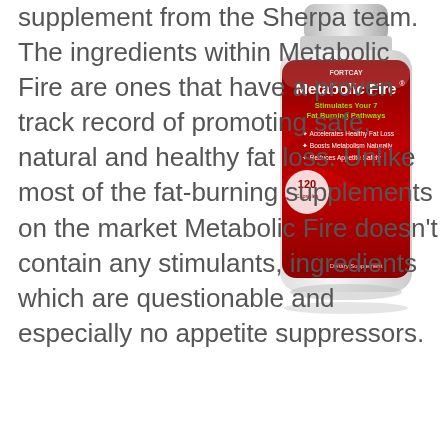[Figure (photo): Product bottle of Metabolic Fire dietary supplement — red and white label reading 'Metabolic Fire', 'Stimulates Your 7 Fat Burning Pathways', 'Accelerates Healthy Fat Loss', 'Boosts Metabolism Naturally', 'Reduces Appetite Safely', '120 capsules', 'Dietary Supplement']
supplement from the Sherpa team. The ingredients within Metabolic Fire are ones that have a proven track record of promoting safe, natural and healthy fat loss. Unlike most of the fat-burning supplements on the market Metabolic Fire doesn't contain any stimulants, ingredients which are questionable and especially no appetite suppressors.